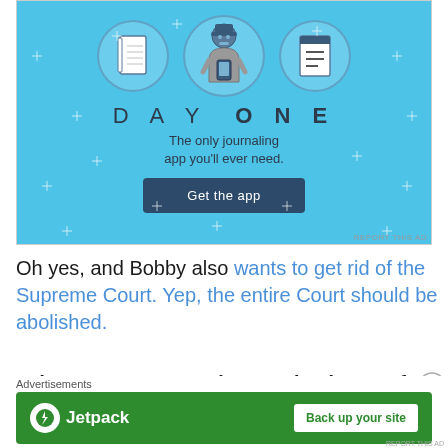[Figure (infographic): Day One journaling app advertisement. Light blue background with sparkle dots. Three circular icons showing a notebook, a person holding a phone, and a checklist. Title text 'DAY ONE' in spaced letters. Tagline 'The only journaling app you'll ever need.' Dark blue button 'Get the app'.]
Oh yes, and Bobby also wants to get rid of the Supreme Court. Yep, the entire Court should be abolished.
“The Supreme Court is completely out of control
[Figure (infographic): Jetpack advertisement banner on green background. Jetpack logo with lightning bolt icon. Text 'Jetpack'. White button 'Back up your site'.]